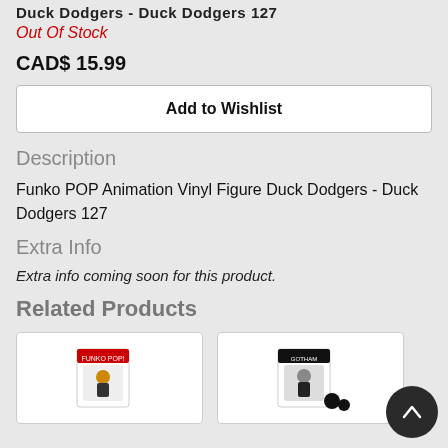Duck Dodgers - Duck Dodgers 127
Out Of Stock
CAD$ 15.99
Add to Wishlist
Description
Funko POP Animation Vinyl Figure Duck Dodgers - Duck Dodgers 127
Extra Info
Extra info coming soon for this product.
Related Products
[Figure (photo): Product photo of a Funko POP figure box]
[Figure (photo): Product photo of a Funko POP figure box (Gotham related)]